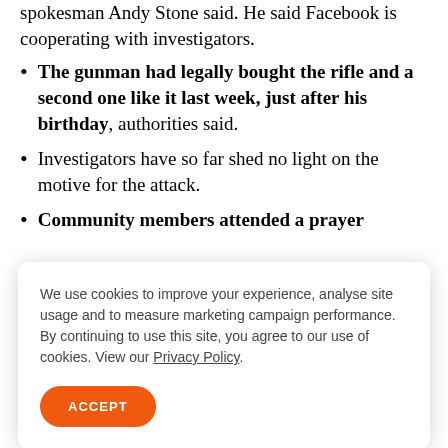spokesman Andy Stone said. He said Facebook is cooperating with investigators.
The gunman had legally bought the rifle and a second one like it last week, just after his birthday, authorities said.
Investigators have so far shed no light on the motive for the attack.
Community members attended a prayer
We use cookies to improve your experience, analyse site usage and to measure marketing campaign performance. By continuing to use this site, you agree to our use of cookies. View our Privacy Policy.
ACCEPT
control.